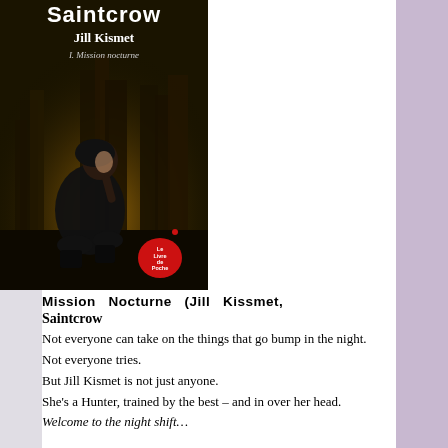[Figure (illustration): Book cover for 'Jill Kismet I. Mission nocturne' by Saintcrow. Shows a woman in dark leather clothing crouching in front of a city skyline at night. Le Livre de Poche publisher logo at bottom. Dark golden/brown atmospheric lighting.]
Mission Nocturne (Jill Kissmet, Saintcrow
Not everyone can take on the things that go bump in the night.
Not everyone tries.
But Jill Kismet is not just anyone.
She's a Hunter, trained by the best – and in over her head.
Welcome to the night shift…